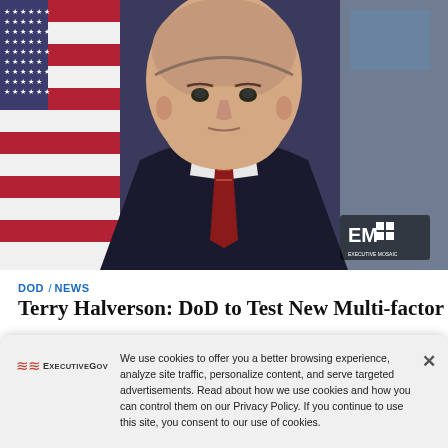[Figure (photo): Official portrait photo of a man in a dark suit with a patterned tie, American flag and military flag in background, Executive Mosaic watermark in lower right]
DOD / NEWS
Terry Halverson: DoD to Test New Multi-factor
[Figure (screenshot): Cookie consent banner with ExecutiveGov logo on left, cookie policy text in center, and X close button on right. Text: We use cookies to offer you a better browsing experience, analyze site traffic, personalize content, and serve targeted advertisements. Read about how we use cookies and how you can control them on our Privacy Policy. If you continue to use this site, you consent to our use of cookies.]